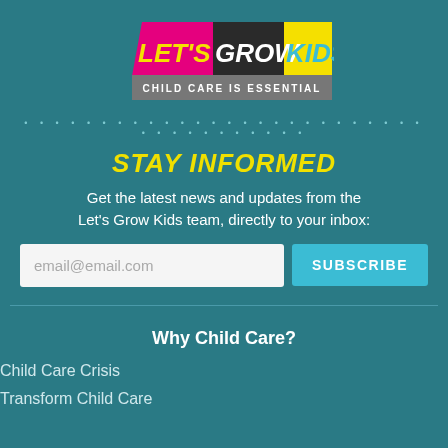[Figure (logo): Let's Grow Kids logo with colored blocks — 'LET'S' in yellow on pink/magenta background, 'GROW' in white on dark background, 'KIDS' in cyan on yellow background, and subtitle 'CHILD CARE IS ESSENTIAL' in white on gray bar]
• • • • • • • • • • • • • • • • • • • • • • • • • • • • • • • • • • • • • •
STAY INFORMED
Get the latest news and updates from the Let's Grow Kids team, directly to your inbox:
email@email.com
SUBSCRIBE
Why Child Care?
Child Care Crisis
Transform Child Care